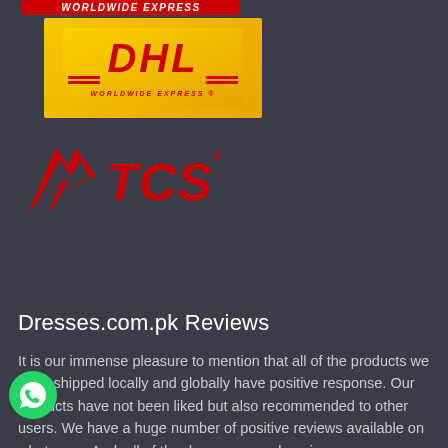[Figure (logo): DHL Worldwide Express logo — red text 'WORLDWIDE EXPRESS' banner at top, yellow background box with large red 'DHL' lettering and 'WORLDWIDE EXPRESS' tagline with decorative lines]
[Figure (logo): TCS courier logo — red stylized wing/arrow icon on the left and bold red TCS lettering with registered trademark symbol on dark background]
Dresses.com.pk Reviews
It is our immense pleasure to mention that all of the products we have shipped locally and globally have positive response. Our products have not been liked but also recommended to other users. We have a huge number of positive reviews available on whats app. And, all of the dresses.com.pk reviews come